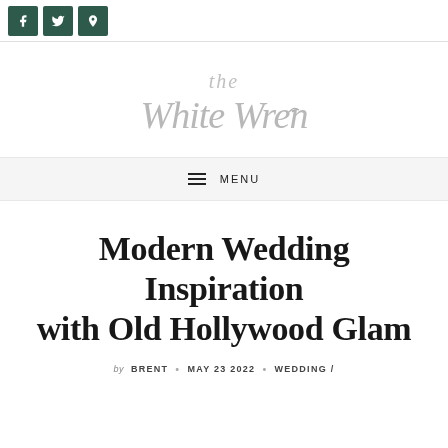Social share buttons: Facebook, Twitter, Pinterest
[Figure (logo): The White Wren scripted calligraphy logo in light gray]
☰ MENU
Modern Wedding Inspiration with Old Hollywood Glam
by BRENT • MAY 23 2022 • WEDDING /